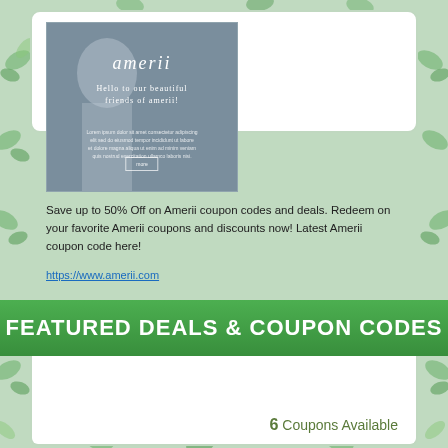[Figure (screenshot): Screenshot of amerii website showing logo and tagline 'Hello to our beautiful friends of amerii!']
Save up to 50% Off on Amerii coupon codes and deals. Redeem on your favorite Amerii coupons and discounts now! Latest Amerii coupon code here!
https://www.amerii.com
FEATURED DEALS & COUPON CODES
6 Coupons Available